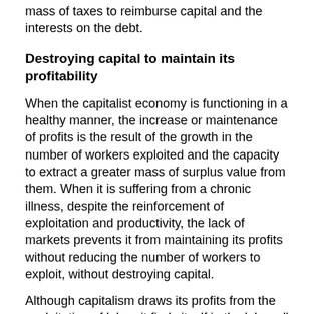mass of taxes to reimburse capital and the interests on the debt.
Destroying capital to maintain its profitability
When the capitalist economy is functioning in a healthy manner, the increase or maintenance of profits is the result of the growth in the number of workers exploited and the capacity to extract a greater mass of surplus value from them. When it is suffering from a chronic illness, despite the reinforcement of exploitation and productivity, the lack of markets prevents it from maintaining its profits without reducing the number of workers to exploit, without destroying capital.
Although capitalism draws its profits from the exploitation of labor, it finds itself in the 'absurd' situation of having to pay the unemployed, workers who are not working, as well as having to pay peasants not to produce, to leave their fields lying fallow.
The social costs of 'maintaining incomes' have reached up to 10% of the annual production of certain industrial countries. From capital's point of this is a mortal sin, an aberration, pure waste, the destruction of capital. With all the sincerity of a convinced capitalist, the new Republican